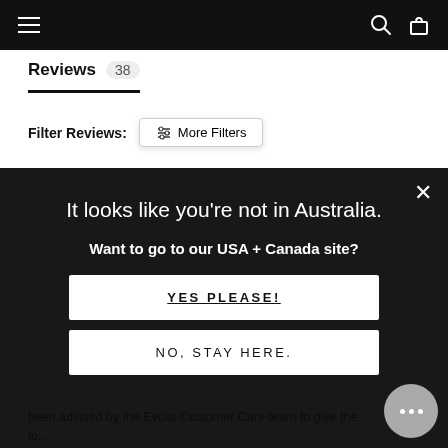Navigation bar with menu, search, and cart icons
Reviews 38
Filter Reviews:  More Filters
It looks like you're not in Australia.
Want to go to our USA + Canada site?
YES PLEASE!
NO, STAY HERE.
been advised by the Evolis Customer Care team to give the lo...